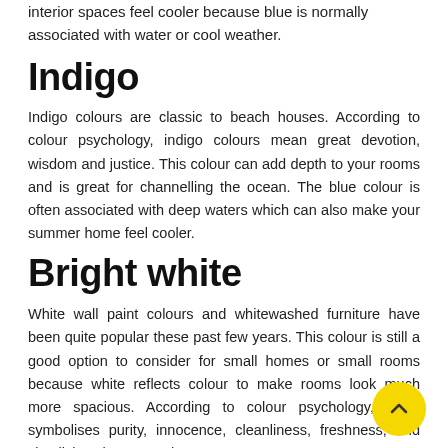interior spaces feel cooler because blue is normally associated with water or cool weather.
Indigo
Indigo colours are classic to beach houses. According to colour psychology, indigo colours mean great devotion, wisdom and justice. This colour can add depth to your rooms and is great for channelling the ocean. The blue colour is often associated with deep waters which can also make your summer home feel cooler.
Bright white
White wall paint colours and whitewashed furniture have been quite popular these past few years. This colour is still a good option to consider for small homes or small rooms because white reflects colour to make rooms look much more spacious. According to colour psychology, white symbolises purity, innocence, cleanliness, freshness, and simplicity. These are al